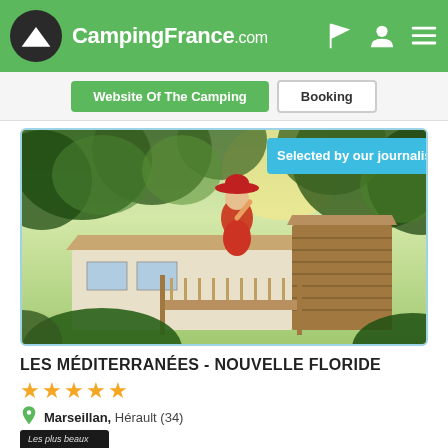CampingFrance.com
Website of the camping | Booking
[Figure (photo): A woman in a red dress and red hat standing on the deck of a mobile home cabin surrounded by trees, with 'Selected by our journalists' badge in the top right corner.]
LES MÉDITERRANÉES - NOUVELLE FLORIDE
★★★★★
Marseillan, Hérault (34)
[Figure (logo): Les plus beaux Campings logo on black background]